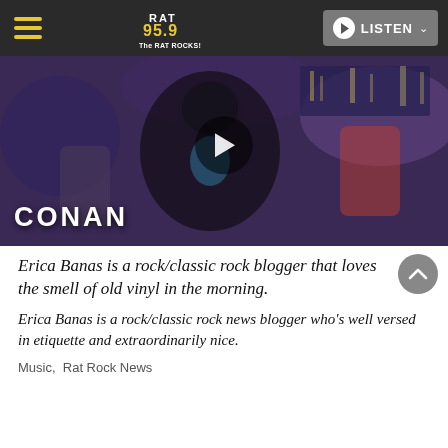RAT 95.9 The RAT ROCKS! — LISTEN
[Figure (screenshot): Video thumbnail showing a person on the Conan show set, with a large play button overlay and 'CONAN' text in the lower left corner.]
Erica Banas is a rock/classic rock blogger that loves the smell of old vinyl in the morning.
Erica Banas is a rock/classic rock news blogger who's well versed in etiquette and extraordinarily nice.
Music,  Rat Rock News